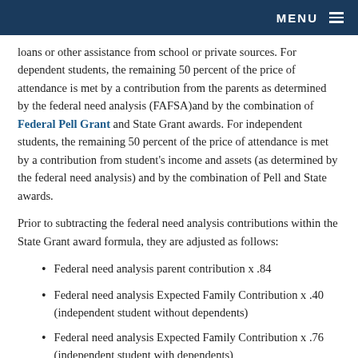MENU
loans or other assistance from school or private sources. For dependent students, the remaining 50 percent of the price of attendance is met by a contribution from the parents as determined by the federal need analysis (FAFSA)and by the combination of Federal Pell Grant and State Grant awards. For independent students, the remaining 50 percent of the price of attendance is met by a contribution from student's income and assets (as determined by the federal need analysis) and by the combination of Pell and State awards.
Prior to subtracting the federal need analysis contributions within the State Grant award formula, they are adjusted as follows:
Federal need analysis parent contribution x .84
Federal need analysis Expected Family Contribution x .40 (independent student without dependents)
Federal need analysis Expected Family Contribution x .76 (independent student with dependents)